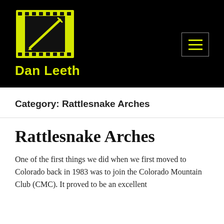[Figure (logo): Yellow film frame with pencil icon logo for Dan Leeth website]
Dan Leeth
Category: Rattlesnake Arches
Rattlesnake Arches
One of the first things we did when we first moved to Colorado back in 1983 was to join the Colorado Mountain Club (CMC).  It proved to be an excellent